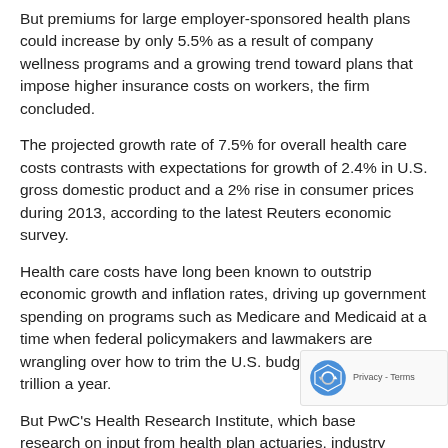But premiums for large employer-sponsored health plans could increase by only 5.5% as a result of company wellness programs and a growing trend toward plans that impose higher insurance costs on workers, the firm concluded.
The projected growth rate of 7.5% for overall health care costs contrasts with expectations for growth of 2.4% in U.S. gross domestic product and a 2% rise in consumer prices during 2013, according to the latest Reuters economic survey.
Health care costs have long been known to outstrip economic growth and inflation rates, driving up government spending on programs such as Medicare and Medicaid at a time when federal policymakers and lawmakers are wrangling over how to trim the U.S. budget deficit of $1 trillion a year.
But PwC's Health Research Institute, which based research on input from health plan actuaries, industry